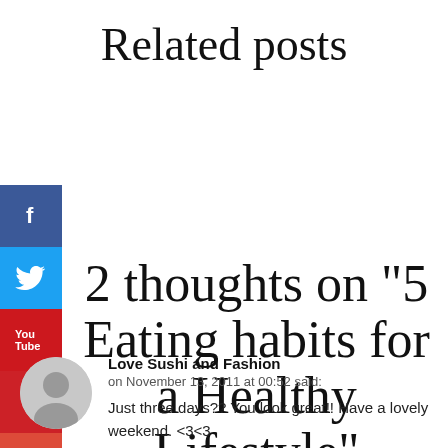Related posts
2 thoughts on “5 Eating habits for a Healthy Lifestyle”
[Figure (other): Social media share icons: Facebook (blue), Twitter (blue), YouTube (red), Pinterest (red), Google+ (red), Instagram (dark)]
Love Sushi and Fashion
on November 13, 2011 at 00:52 said:

Just three days?? You look great!! Have a lovely weekend. <3<3